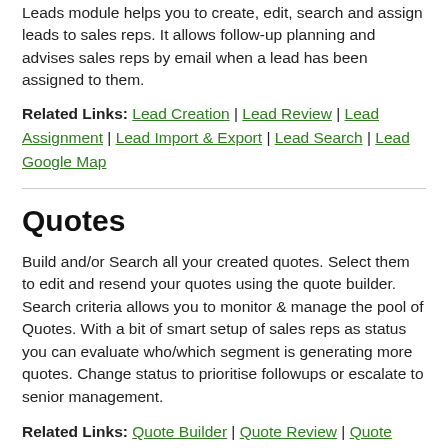Leads module helps you to create, edit, search and assign leads to sales reps. It allows follow-up planning and advises sales reps by email when a lead has been assigned to them.
Related Links: Lead Creation | Lead Review | Lead Assignment | Lead Import & Export | Lead Search | Lead Google Map
Quotes
Build and/or Search all your created quotes. Select them to edit and resend your quotes using the quote builder. Search criteria allows you to monitor & manage the pool of Quotes. With a bit of smart setup of sales reps as status you can evaluate who/which segment is generating more quotes. Change status to prioritise followups or escalate to senior management.
Related Links: Quote Builder | Quote Review | Quote